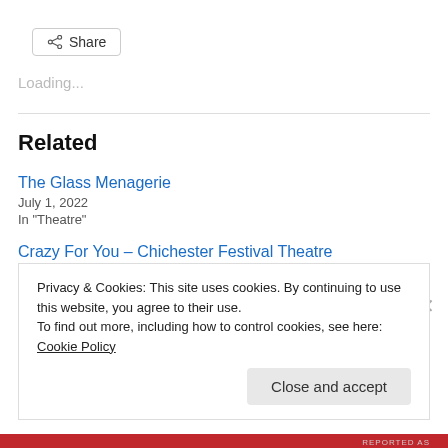[Figure (other): Share button with share icon]
Loading...
Related
The Glass Menagerie
July 1, 2022
In "Theatre"
Crazy For You – Chichester Festival Theatre
August 8, 2022
Privacy & Cookies: This site uses cookies. By continuing to use this website, you agree to their use. To find out more, including how to control cookies, see here: Cookie Policy
Close and accept